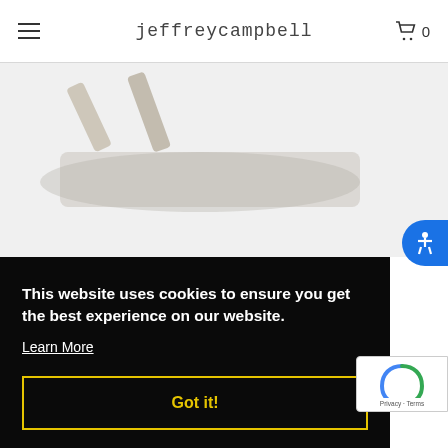jeffreycampbell  0
[Figure (photo): Partial view of Jeffrey Campbell shoe/footwear product on light background]
This website uses cookies to ensure you get the best experience on our website.
Learn More
Got it!